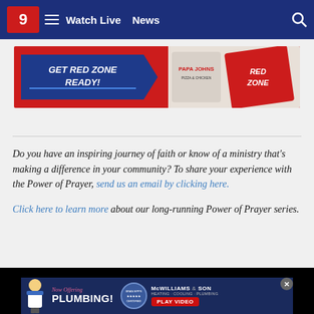Watch Live  News
[Figure (screenshot): GET RED ZONE READY! Papa Johns Red Zone advertisement banner]
Do you have an inspiring journey of faith or know of a ministry that's making a difference in your community? To share your experience with the Power of Prayer, send us an email by clicking here.
Click here to learn more about our long-running Power of Prayer series.
[Figure (screenshot): McWilliams & Son Now Offering PLUMBING! Play Video advertisement banner at bottom of page]